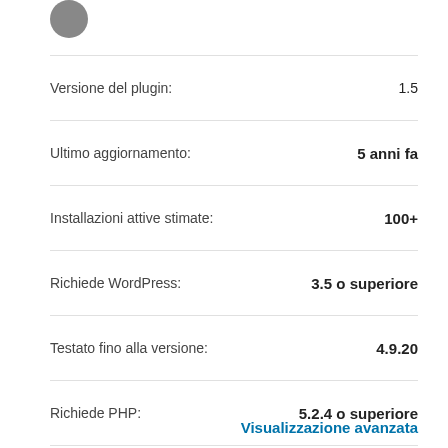[Figure (photo): Small circular avatar/profile image in top left]
| Campo | Valore |
| --- | --- |
| Versione del plugin: | 1.5 |
| Ultimo aggiornamento: | 5 anni fa |
| Installazioni attive stimate: | 100+ |
| Richiede WordPress: | 3.5 o superiore |
| Testato fino alla versione: | 4.9.20 |
| Richiede PHP: | 5.2.4 o superiore |
| Lingue: | Visualizzale tutte e 8 |
| Tag: | embed  paste  pastebin  shortcode  snippets |
Visualizzazione avanzata